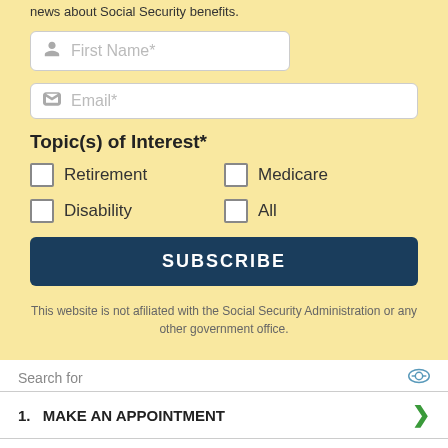news about Social Security benefits.
First Name*
Email*
Topic(s) of Interest*
Retirement
Medicare
Disability
All
SUBSCRIBE
This website is not afiliated with the Social Security Administration or any other government office.
Search for
1.  MAKE AN APPOINTMENT
2.  REPLACEMENT SOCIAL SECURITY